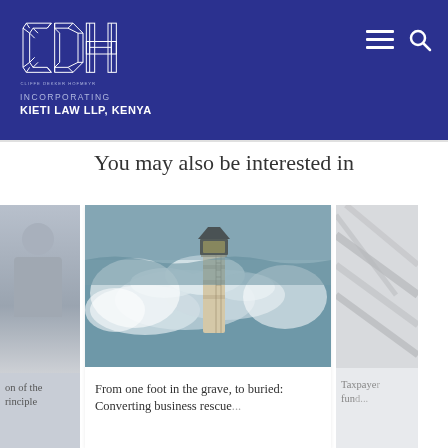CDH - Cliffe Dekker Hofmeyr | Incorporating Kieti Law LLP, Kenya
INCORPORATING
KIETI LAW LLP, KENYA
You may also be interested in
[Figure (photo): Left card: partially visible, appears to show a person, with partial text visible: 'on of the' and 'rinciple']
[Figure (photo): Center card: lighthouse being hit by large ocean waves]
From one foot in the grave, to buried: Converting business rescue...
[Figure (photo): Right card: partially visible, light-colored architectural/abstract image with partial text 'Taxpaye' and 'fun...']